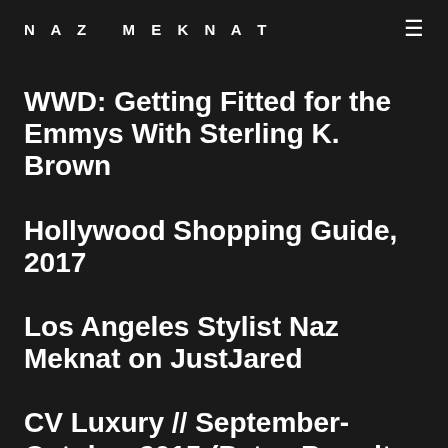NAZ MEKNAT
WWD: Getting Fitted for the Emmys With Sterling K. Brown
Hollywood Shopping Guide, 2017
Los Angeles Stylist Naz Meknat on JustJared
CV Luxury // September-October 2015 (Patsy Brandt Cover)